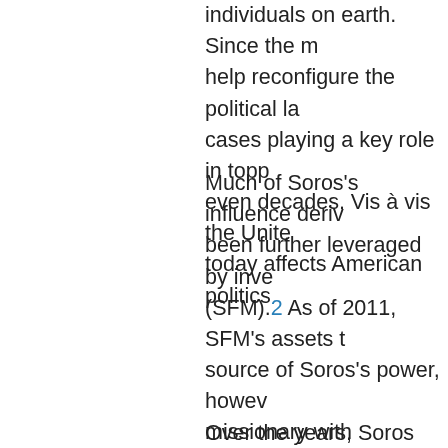individuals on earth. Since the m help reconfigure the political la cases playing a key role in topp even decades. Vis à vis the Unite today affects American politics
Much of Soros's influence deriv been further leveraged by inve (SFM).2 As of 2011, SFM's assets t source of Soros's power, howev missionary with something of a into something better—as he se
Over the years, Soros has given